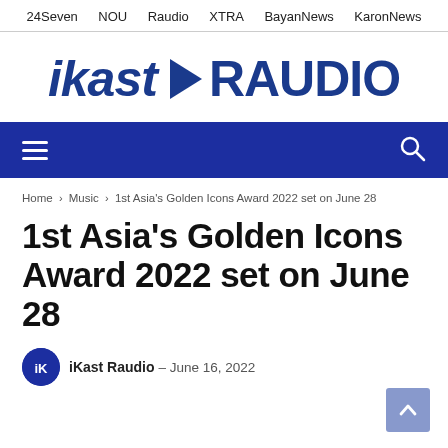24Seven   NOU   Raudio   XTRA   BayanNews   KaronNews
[Figure (logo): iKast RAUDIO logo with play button triangle icon, dark blue italic and bold text]
[Figure (infographic): Dark blue navigation bar with hamburger menu icon on left and search icon on right]
Home > Music > 1st Asia's Golden Icons Award 2022 set on June 28
1st Asia's Golden Icons Award 2022 set on June 28
iKast Raudio - June 16, 2022